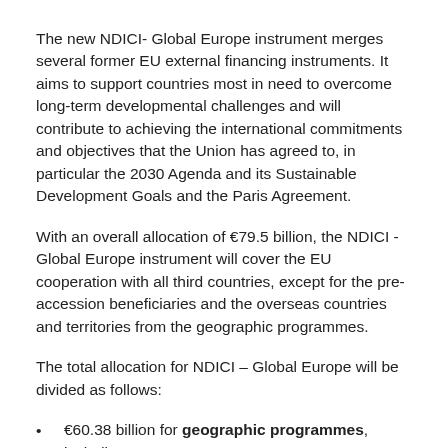The new NDICI- Global Europe instrument merges several former EU external financing instruments. It aims to support countries most in need to overcome long-term developmental challenges and will contribute to achieving the international commitments and objectives that the Union has agreed to, in particular the 2030 Agenda and its Sustainable Development Goals and the Paris Agreement.
With an overall allocation of €79.5 billion, the NDICI - Global Europe instrument will cover the EU cooperation with all third countries, except for the pre-accession beneficiaries and the overseas countries and territories from the geographic programmes.
The total allocation for NDICI – Global Europe will be divided as follows:
€60.38 billion for geographic programmes, including